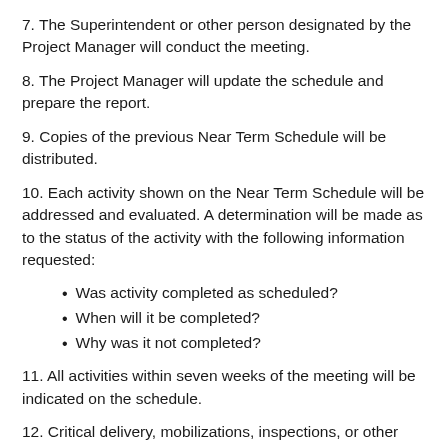7. The Superintendent or other person designated by the Project Manager will conduct the meeting.
8. The Project Manager will update the schedule and prepare the report.
9. Copies of the previous Near Term Schedule will be distributed.
10. Each activity shown on the Near Term Schedule will be addressed and evaluated. A determination will be made as to the status of the activity with the following information requested:
Was activity completed as scheduled?
When will it be completed?
Why was it not completed?
11. All activities within seven weeks of the meeting will be indicated on the schedule.
12. Critical delivery, mobilizations, inspections, or other